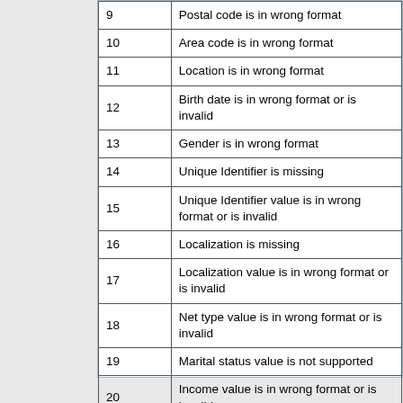| Code | Description |
| --- | --- |
| 9 | Postal code is in wrong format |
| 10 | Area code is in wrong format |
| 11 | Location is in wrong format |
| 12 | Birth date is in wrong format or is invalid |
| 13 | Gender is in wrong format |
| 14 | Unique Identifier is missing |
| 15 | Unique Identifier value is in wrong format or is invalid |
| 16 | Localization is missing |
| 17 | Localization value is in wrong format or is invalid |
| 18 | Net type value is in wrong format or is invalid |
| 19 | Marital status value is not supported |
| 20 | Income value is in wrong format or is invalid |